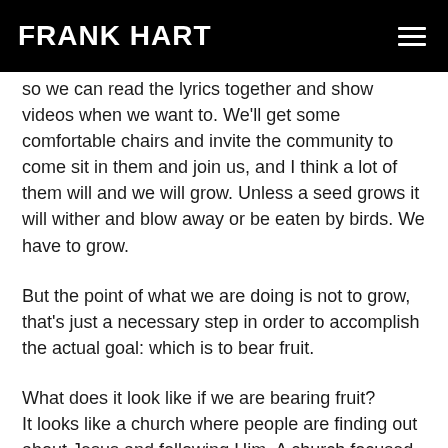FRANK HART
Everything sounds really good, and we've got some screens so we can read the lyrics together and show videos when we want to. We'll get some comfortable chairs and invite the community to come sit in them and join us, and I think a lot of them will and we will grow. Unless a seed grows it will wither and blow away or be eaten by birds. We have to grow.
But the point of what we are doing is not to grow, that's just a necessary step in order to accomplish the actual goal: which is to bear fruit.
What does it look like if we are bearing fruit? It looks like a church where people are finding out about Jesus and following Him. A church focused on Jesus, not our brand. When we talk about NewChurch we want